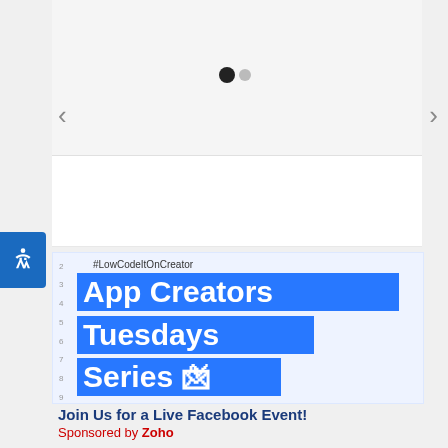[Figure (screenshot): Carousel top section with gray background, dark dot indicator, and left/right navigation arrows on a white card layout]
[Figure (screenshot): Event promotional image showing '#LowCodeItOnCreator' hashtag and blue banner with text 'App Creators Tuesdays Series' with row numbers on left side]
Join Us for a Live Facebook Event!
Sponsored by Zoho